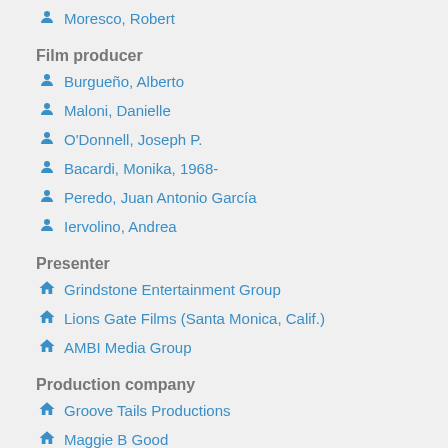Moresco, Robert
Film producer
Burgueño, Alberto
Maloni, Danielle
O'Donnell, Joseph P.
Bacardi, Monika, 1968-
Peredo, Juan Antonio García
Iervolino, Andrea
Presenter
Grindstone Entertainment Group
Lions Gate Films (Santa Monica, Calif.)
AMBI Media Group
Production company
Groove Tails Productions
Maggie B Good
Elipsis Capital
Deadly Codes Productions